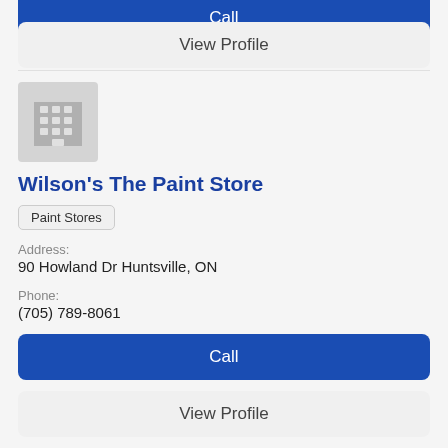Call
View Profile
[Figure (illustration): Generic building/office placeholder icon with grid of windows and door, grey background]
Wilson's The Paint Store
Paint Stores
Address:
90 Howland Dr Huntsville, ON
Phone:
(705) 789-8061
Call
View Profile